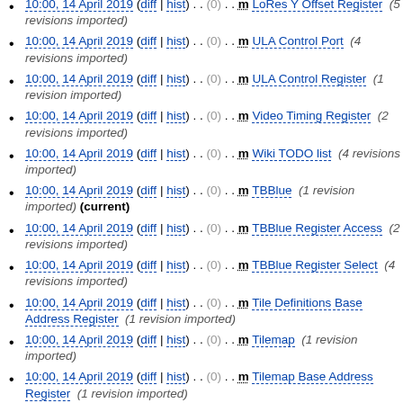10:00, 14 April 2019 (diff | hist) . . (0) . . m LoRes Y Offset Register (5 revisions imported)
10:00, 14 April 2019 (diff | hist) . . (0) . . m ULA Control Port (4 revisions imported)
10:00, 14 April 2019 (diff | hist) . . (0) . . m ULA Control Register (1 revision imported)
10:00, 14 April 2019 (diff | hist) . . (0) . . m Video Timing Register (2 revisions imported)
10:00, 14 April 2019 (diff | hist) . . (0) . . m Wiki TODO list (4 revisions imported)
10:00, 14 April 2019 (diff | hist) . . (0) . . m TBBlue (1 revision imported) (current)
10:00, 14 April 2019 (diff | hist) . . (0) . . m TBBlue Register Access (2 revisions imported)
10:00, 14 April 2019 (diff | hist) . . (0) . . m TBBlue Register Select (4 revisions imported)
10:00, 14 April 2019 (diff | hist) . . (0) . . m Tile Definitions Base Address Register (1 revision imported)
10:00, 14 April 2019 (diff | hist) . . (0) . . m Tilemap (1 revision imported)
10:00, 14 April 2019 (diff | hist) . . (0) . . m Tilemap Base Address Register (1 revision imported)